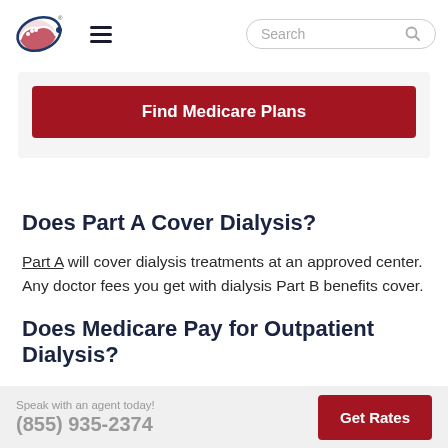Search
Find Medicare Plans
Does Part A Cover Dialysis?
Part A will cover dialysis treatments at an approved center. Any doctor fees you get with dialysis Part B benefits cover.
Does Medicare Pay for Outpatient Dialysis?
Speak with an agent today! (855) 935-2374 Get Rates